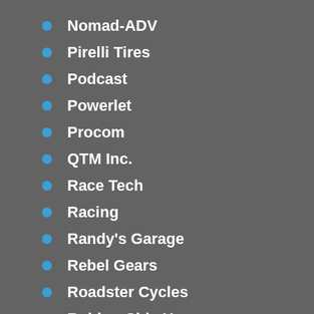Nomad-ADV
Pirelli Tires
Podcast
Powerlet
Procom
QTM Inc.
Race Tech
Racing
Randy's Garage
Rebel Gears
Roadster Cycles
Rubber Side Up
Safety
Service Tech